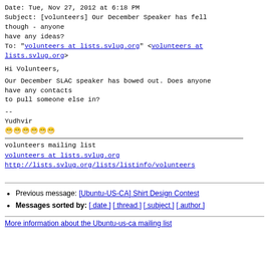Date: Tue, Nov 27, 2012 at 6:18 PM
Subject: [volunteers] Our December Speaker has fell though - anyone have any ideas?
To: "volunteers at lists.svlug.org" <volunteers at lists.svlug.org>
Hi Volunteers,
Our December SLAC speaker has bowed out. Does anyone have any contacts to pull someone else in?
--
Yudhvir
[unicode chars]
volunteers mailing list
volunteers at lists.svlug.org
http://lists.svlug.org/lists/listinfo/volunteers
Previous message: [Ubuntu-US-CA] Shirt Design Contest
Messages sorted by: [ date ] [ thread ] [ subject ] [ author ]
More information about the Ubuntu-us-ca mailing list